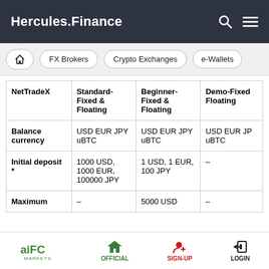Hercules.Finance
| NetTradeX | Standard-Fixed & Floating | Beginner-Fixed & Floating | Demo-Fixed Floating |
| --- | --- | --- | --- |
| Balance currency | USD EUR JPY uBTC | USD EUR JPY uBTC | USD EUR JP uBTC |
| Initial deposit * | 1000 USD, 1000 EUR, 100000 JPY | 1 USD, 1 EUR, 100 JPY | – |
| Maximum | – | 5000 USD | – |
IFC Markets | OFFICIAL | SIGN-UP | LOGIN